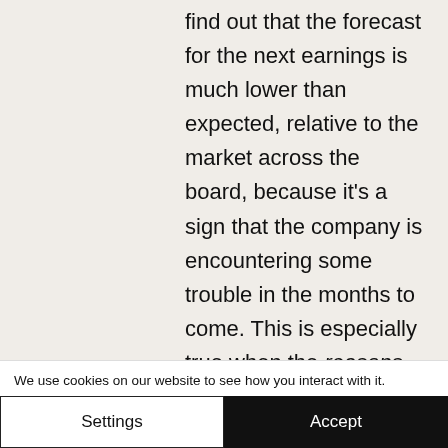find out that the forecast for the next earnings is much lower than expected, relative to the market across the board, because it's a sign that the company is encountering some trouble in the months to come. This is especially true when the reasons for lower guidance can't really be pinpointed. If I know a company is going through a little bit of a bind because of a pandemic or
We use cookies on our website to see how you interact with it. By accepting, you agree to our use of such cookies. Privacy Policy
Settings
Accept